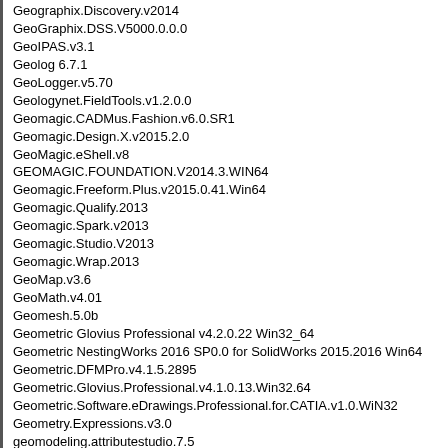Geographix.Discovery.v2014
GeoGraphix.DSS.V5000.0.0.0
GeoIPAS.v3.1
Geolog 6.7.1
GeoLogger.v5.70
Geologynet.FieldTools.v1.2.0.0
Geomagic.CADMus.Fashion.v6.0.SR1
Geomagic.Design.X.v2015.2.0
GeoMagic.eShell.v8
GEOMAGIC.FOUNDATION.V2014.3.WIN64
Geomagic.Freeform.Plus.v2015.0.41.Win64
Geomagic.Qualify.2013
Geomagic.Spark.v2013
Geomagic.Studio.V2013
Geomagic.Wrap.2013
GeoMap.v3.6
GeoMath.v4.01
Geomesh.5.0b
Geometric Glovius Professional v4.2.0.22 Win32_64
Geometric NestingWorks 2016 SP0.0 for SolidWorks 2015.2016 Win64
Geometric.DFMPro.v4.1.5.2895
Geometric.Glovius.Professional.v4.1.0.13.Win32.64
Geometric.Software.eDrawings.Professional.for.CATIA.v1.0.WiN32
Geometry.Expressions.v3.0
geomodeling.attributestudio.7.5
GeoniCS.Civil.2008.v8.0
Geopainting.GPSMapEdit.v2.1.78.8
Geophysical.Software.Solutions.GSS.Potent.v4.14.03
GeoRock.2D.2016.12.1
GeoRock.3D.2016.16.0
GeoSetSignal.v5.0.3.500